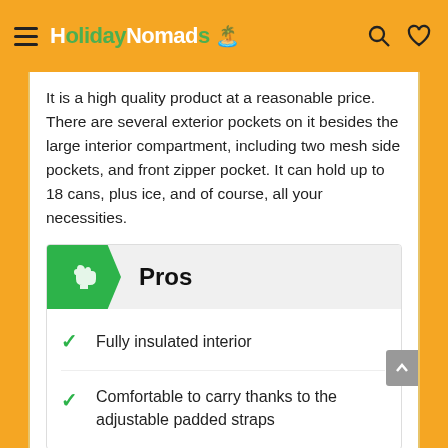HolidayNomads
It is a high quality product at a reasonable price. There are several exterior pockets on it besides the large interior compartment, including two mesh side pockets, and front zipper pocket. It can hold up to 18 cans, plus ice, and of course, all your necessities.
Pros
Fully insulated interior
Comfortable to carry thanks to the adjustable padded straps